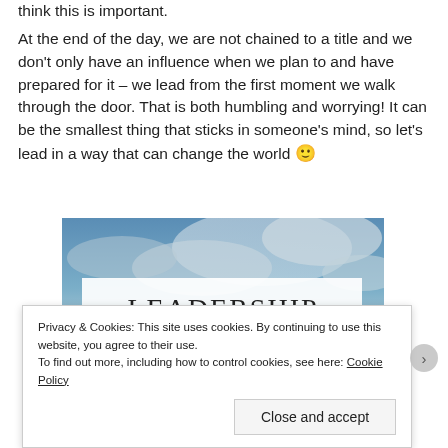think this is important.
At the end of the day, we are not chained to a title and we don't only have an influence when we plan to and have prepared for it – we lead from the first moment we walk through the door. That is both humbling and worrying! It can be the smallest thing that sticks in someone's mind, so let's lead in a way that can change the world 🙂
[Figure (photo): Motivational image with a cloudy sky background showing the text 'LEADERSHIP' in a white box and 'IS NOT' in large white letters below.]
Privacy & Cookies: This site uses cookies. By continuing to use this website, you agree to their use. To find out more, including how to control cookies, see here: Cookie Policy
Close and accept